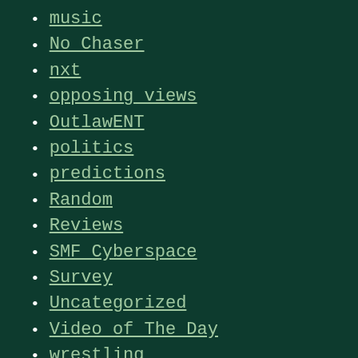music
No Chaser
nxt
opposing views
OutlawENT
politics
predictions
Random
Reviews
SMF Cyberspace
Survey
Uncategorized
Video of The Day
wrestling
wrestling Q&A
wrestling, wwe, payback, predictions, tossing salt